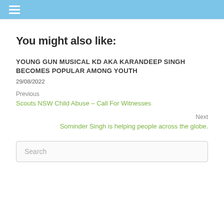☰
You might also like:
YOUNG GUN MUSICAL KD AKA KARANDEEP SINGH BECOMES POPULAR AMONG YOUTH
29/08/2022
Previous
Scouts NSW Child Abuse – Call For Witnesses
Next
Sominder Singh is helping people across the globe.